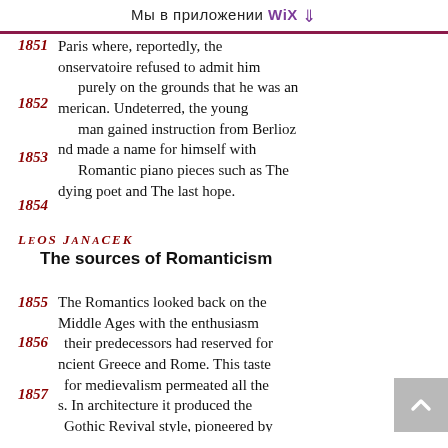Мы в приложении WiX ↓
Paris where, reportedly, the Conservatoire refused to admit him purely on the grounds that he was an American. Undeterred, the young man gained instruction from Berlioz and made a name for himself with Romantic piano pieces such as The dying poet and The last hope.
Leos Janacek
The sources of Romanticism
The Romantics looked back on the Middle Ages with the enthusiasm their predecessors had reserved for ancient Greece and Rome. This taste for medievalism permeated all the arts. In architecture it produced the Gothic Revival style, pioneered by Giacomo Puccini as A.W.N. Pugin and Viollet-le-Duc. In literature it was